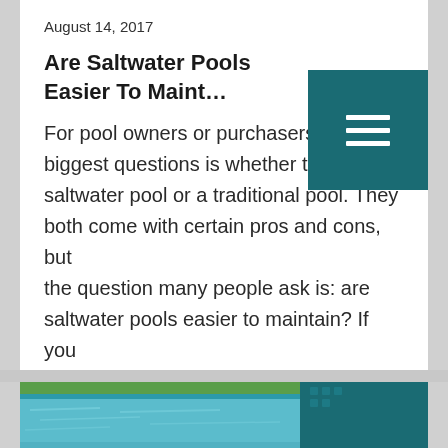August 14, 2017
Are Saltwater Pools Easier To Maint...
For pool owners or purchasers, one of the biggest questions is whether to get a saltwater pool or a traditional pool. They both come with certain pros and cons, but the question many people ask is: are saltwater pools easier to maintain? If you find yourself asking this question, and you are ...
[Read more...]
Saltwater Pools
[Figure (photo): Photo of a swimming pool with teal water, blue tiles, and green lawn visible at the top edge. A teal-colored panel appears on the right side.]